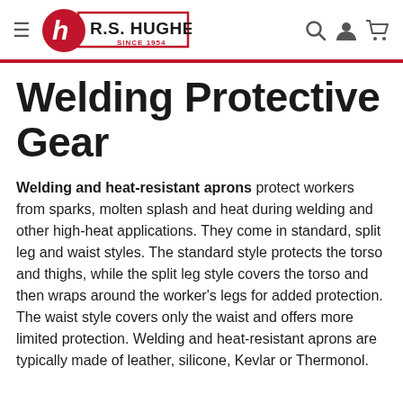R.S. HUGHES SINCE 1954
Welding Protective Gear
Welding and heat-resistant aprons protect workers from sparks, molten splash and heat during welding and other high-heat applications. They come in standard, split leg and waist styles. The standard style protects the torso and thighs, while the split leg style covers the torso and then wraps around the worker's legs for added protection. The waist style covers only the waist and offers more limited protection. Welding and heat-resistant aprons are typically made of leather, silicone, Kevlar or Thermonol.